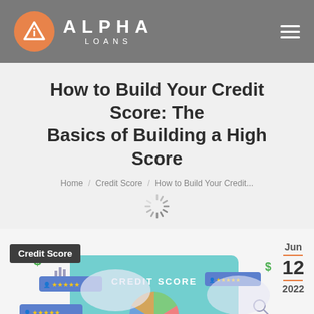[Figure (logo): Alpha Loans logo: orange circle with white triangle/mountain icon, bold white text ALPHA LOANS on grey background header nav]
How to Build Your Credit Score: The Basics of Building a High Score
Home / Credit Score / How to Build Your Credit...
[Figure (illustration): Credit score themed illustration showing a pie chart credit score gauge, star rating badges, dollar signs, calendar, and magnifying glass on a light purple/blue background. Bottom right shows date: Jun 12 2022. Top left shows 'Credit Score' dark label tag.]